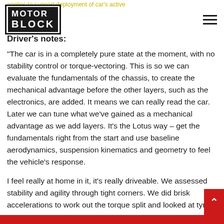MOTOR BLOCK
Driver's notes:
“The car is in a completely pure state at the moment, with no stability control or torque-vectoring. This is so we can evaluate the fundamentals of the chassis, to create the mechanical advantage before the other layers, such as the electronics, are added. It means we can really read the car. Later we can tune what we’ve gained as a mechanical advantage as we add layers. It’s the Lotus way – get the fundamentals right from the start and use baseline aerodynamics, suspension kinematics and geometry to feel the vehicle’s response.
I feel really at home in it, it’s really driveable. We assessed stability and agility through tight corners. We did brisk accelerations to work out the torque split and looked at tyre